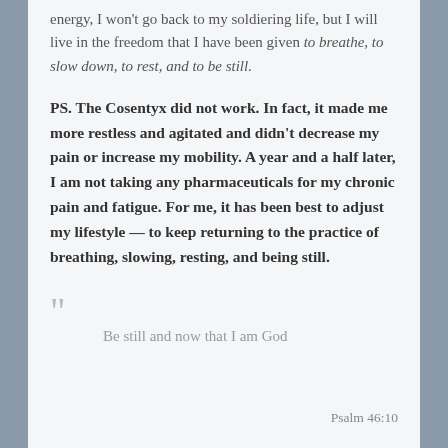energy, I won't go back to my soldiering life, but I will live in the freedom that I have been given to breathe, to slow down, to rest, and to be still.
PS. The Cosentyx did not work. In fact, it made me more restless and agitated and didn't decrease my pain or increase my mobility. A year and a half later, I am not taking any pharmaceuticals for my chronic pain and fatigue. For me, it has been best to adjust my lifestyle — to keep returning to the practice of breathing, slowing, resting, and being still.
Be still and now that I am God
Psalm 46:10